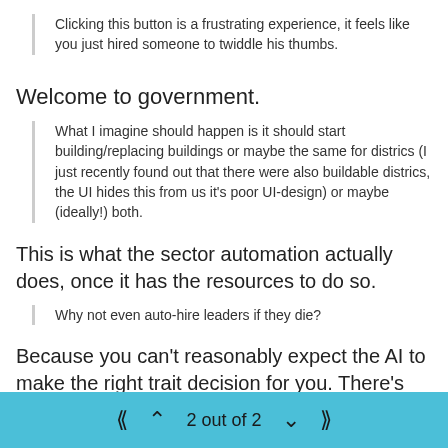Clicking this button is a frustrating experience, it feels like you just hired someone to twiddle his thumbs.
Welcome to government.
What I imagine should happen is it should start building/replacing buildings or maybe the same for districs (I just recently found out that there were also buildable districs, the UI hides this from us it's poor UI-design) or maybe (ideally!) both.
This is what the sector automation actually does, once it has the resources to do so.
Why not even auto-hire leaders if they die?
Because you can't reasonably expect the AI to make the right trait decision for you. There's also other considerations such as the age of the
2 out of 2